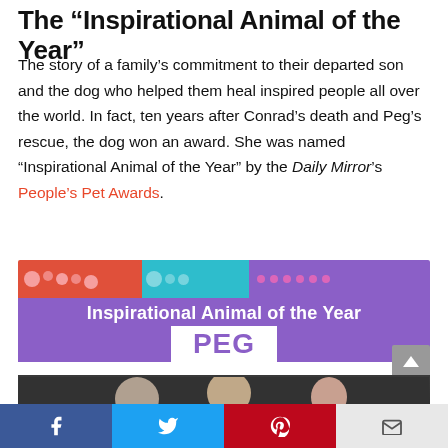The “Inspirational Animal of the Year”
The story of a family’s commitment to their departed son and the dog who helped them heal inspired people all over the world. In fact, ten years after Conrad’s death and Peg’s rescue, the dog won an award. She was named “Inspirational Animal of the Year” by the Daily Mirror’s People’s Pet Awards.
[Figure (other): Award banner for Daily Mirror People's Pet Awards showing 'Inspirational Animal of the Year - PEG' with colorful decorative header in orange, teal, and purple sections with paw print decorations]
[Figure (photo): Partial photo showing people (partially cropped), appears to be family members in front of dark curtain background]
Facebook Twitter Pinterest Email (social share bar)